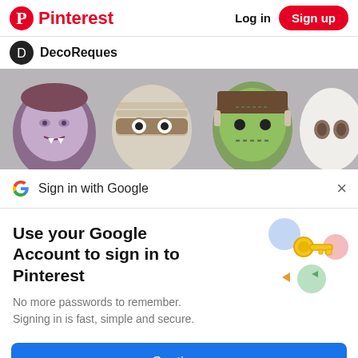Pinterest  Log in  Sign up
DecoReques
[Figure (photo): Four Halloween-themed egg characters on a gray background: a vampire, a mummy, Frankenstein's monster, and a ghost/skull, each decorated with fondant or clay.]
Sign in with Google
Use your Google Account to sign in to Pinterest
No more passwords to remember.
Signing in is fast, simple and secure.
[Figure (illustration): Colorful Google key illustration with a golden key and pastel colored circles/shields]
Continue